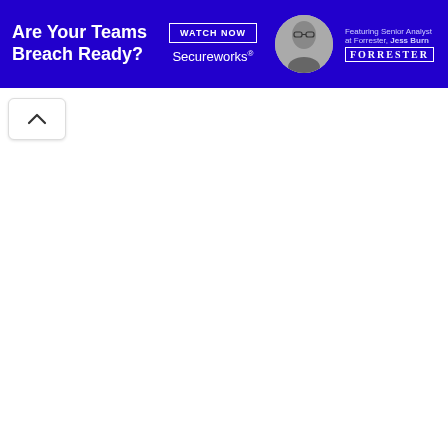[Figure (screenshot): Advertising banner with blue background for Secureworks and Forrester. Contains headline 'Are Your Teams Breach Ready?', a 'WATCH NOW' button, Secureworks logo, a circular black-and-white headshot photo, and Forrester branding with text 'Featuring Senior Analyst at Forrester, Jess Burn' and Forrester logo.]
[Figure (other): Scroll-up button (chevron pointing upward) in a white rounded rectangle below the banner.]